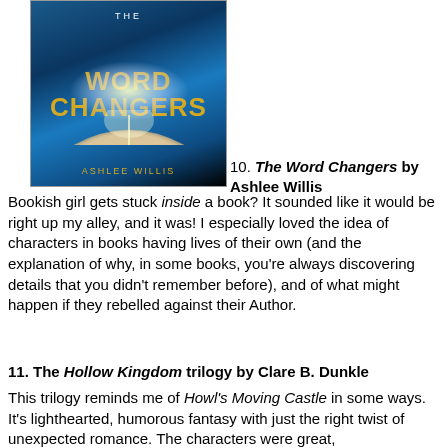[Figure (photo): Book cover for 'The Word Changers' by Ashlee Willis. Dark blue glowing background with an open book emitting light, gold and white title text, author name in gold at bottom.]
10. The Word Changers by Ashlee Willis
Bookish girl gets stuck inside a book? It sounded like it would be right up my alley, and it was! I especially loved the idea of characters in books having lives of their own (and the explanation of why, in some books, you're always discovering details that you didn't remember before), and of what might happen if they rebelled against their Author.
11. The Hollow Kingdom trilogy by Clare B. Dunkle
This trilogy reminds me of Howl's Moving Castle in some ways. It's lighthearted, humorous fantasy with just the right twist of unexpected romance. The characters were great,